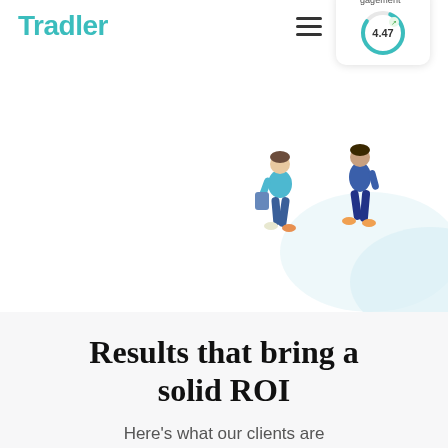Tradler
[Figure (illustration): Illustration of people walking/working with a dashboard widget showing 'gagement' label and a donut gauge reading 4.47, plus bar chart elements in the background. Hamburger menu icon visible.]
Results that bring a solid ROI
Here’s what our clients are celebrating: